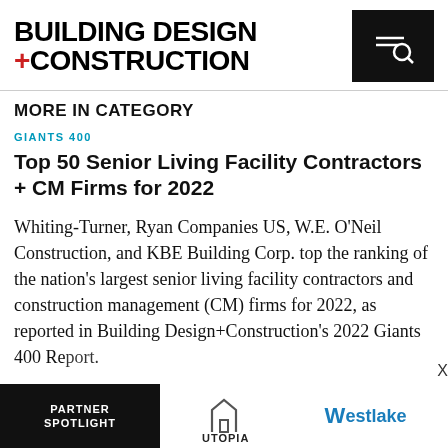BUILDING DESIGN +CONSTRUCTION
MORE IN CATEGORY
GIANTS 400
Top 50 Senior Living Facility Contractors + CM Firms for 2022
Whiting-Turner, Ryan Companies US, W.E. O'Neil Construction, and KBE Building Corp. top the ranking of the nation's largest senior living facility contractors and construction management (CM) firms for 2022, as reported in Building Design+Construction's 2022 Giants 400 Report.
[Figure (other): Advertisement bar at bottom with PARTNER SPOTLIGHT text on dark background, Utopia logo, X close button, and Westlake logo]